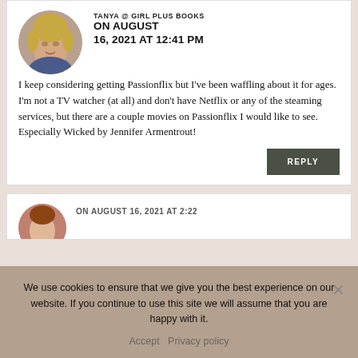[Figure (photo): Round avatar photo of a woman with blonde hair]
TANYA @ GIRL PLUS BOOKS ON AUGUST 16, 2021 AT 12:41 PM
I keep considering getting Passionflix but I've been waffling about it for ages. I'm not a TV watcher (at all) and don't have Netflix or any of the steaming services, but there are a couple movies on Passionflix I would like to see. Especially Wicked by Jennifer Armentrout!
REPLY
[Figure (photo): Round avatar photo partially visible]
ON AUGUST 16, 2021 AT 2:22
We use cookies to ensure that we give you the best experience on our website. If you continue to use this site we will assume that you are happy with it.
Accept  Privacy policy